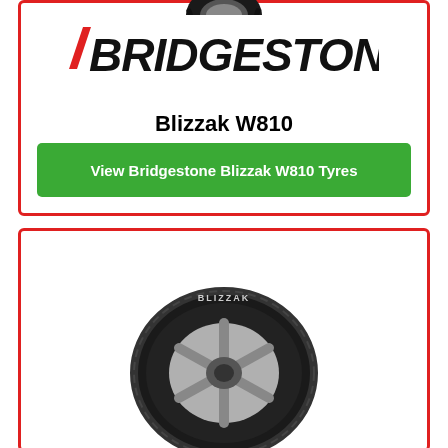[Figure (photo): Partial view of a black Bridgestone tire tread at the top of the first card]
[Figure (logo): Bridgestone logo in black italic bold text with a red slash/stripe element]
Blizzak W810
View Bridgestone Blizzak W810 Tyres
[Figure (photo): Bridgestone Blizzak W810 winter tyre, side profile view showing tread pattern and silver alloy wheel area]